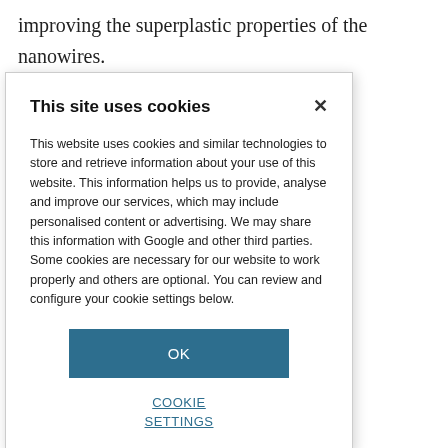improving the superplastic properties of the nanowires.
tron beam has on d pulling one out ack on to get a saw massive nowhere near as re did eventually m enhances the ut we don't know is required to
y interesting and nhart, from the f Materials
This site uses cookies

This website uses cookies and similar technologies to store and retrieve information about your use of this website. This information helps us to provide, analyse and improve our services, which may include personalised content or advertising. We may share this information with Google and other third parties. Some cookies are necessary for our website to work properly and others are optional. You can review and configure your cookie settings below.

OK

COOKIE SETTINGS